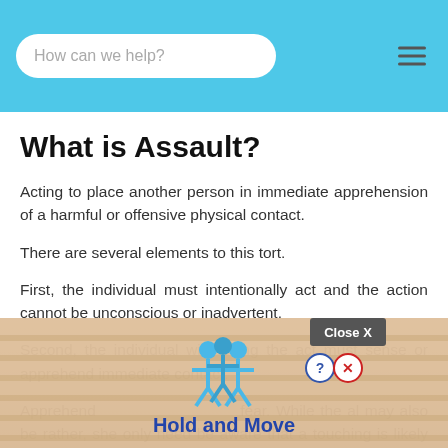How can we help?
What is Assault?
Acting to place another person in immediate apprehension of a harmful or offensive physical contact.
There are several elements to this tort.
First, the individual must intentionally act and the action cannot be unconscious or inadvertent.
Second, the individual witnessing the act must sense or apprehend immediate contact.
Apprehension is more than fear. While the individual may also be afraid; rather, she only need be aware that a touching is likely to ensue.
[Figure (other): Advertisement overlay with 'Hold and Move' text and figures, with a Close X button in the top right corner.]